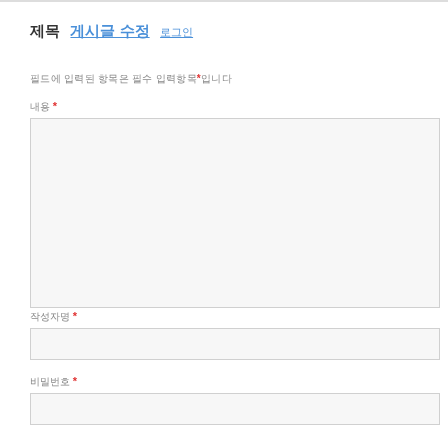제목 게시글 수정 로그인
필드에 입력된 항목은 필수 입력항목*입니다
내용 *
작성자명 *
비밀번호 *